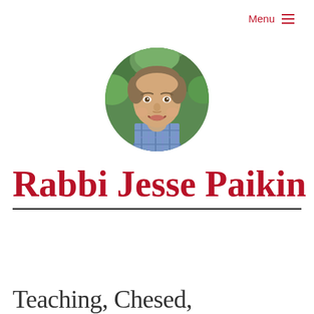Menu ≡
[Figure (photo): Circular portrait photo of a young man smiling, with short hair and a plaid shirt, against a green leafy background.]
Rabbi Jesse Paikin
Teaching, Chesed,